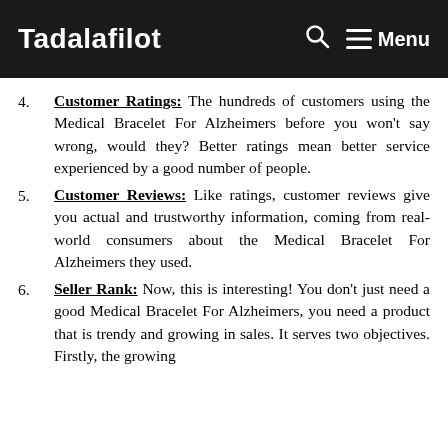Tadalafilot  🔍  ☰ Menu
4. Customer Ratings: The hundreds of customers using the Medical Bracelet For Alzheimers before you won't say wrong, would they? Better ratings mean better service experienced by a good number of people.
5. Customer Reviews: Like ratings, customer reviews give you actual and trustworthy information, coming from real-world consumers about the Medical Bracelet For Alzheimers they used.
6. Seller Rank: Now, this is interesting! You don't just need a good Medical Bracelet For Alzheimers, you need a product that is trendy and growing in sales. It serves two objectives. Firstly, the growing